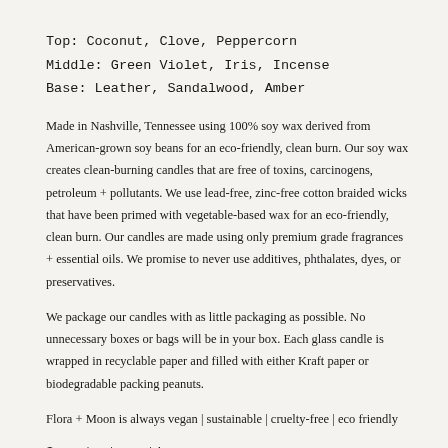Top: Coconut, Clove, Peppercorn
Middle: Green Violet, Iris, Incense
Base: Leather, Sandalwood, Amber
Made in Nashville, Tennessee using 100% soy wax derived from American-grown soy beans for an eco-friendly, clean burn. Our soy wax creates clean-burning candles that are free of toxins, carcinogens, petroleum + pollutants. We use lead-free, zinc-free cotton braided wicks that have been primed with vegetable-based wax for an eco-friendly, clean burn. Our candles are made using only premium grade fragrances + essential oils. We promise to never use additives, phthalates, dyes, or preservatives.
We package our candles with as little packaging as possible. No unnecessary boxes or bags will be in your box. Each glass candle is wrapped in recyclable paper and filled with either Kraft paper or biodegradable packing peanuts.
Flora + Moon is always vegan | sustainable | cruelty-free | eco friendly
Some text continues...